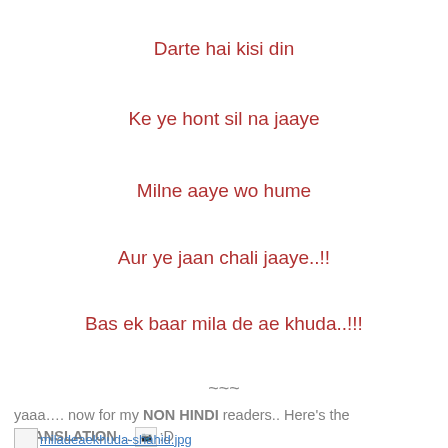Darte hai kisi din
Ke ye hont sil na jaaye
Milne aaye wo hume
Aur ye jaan chali jaaye..!!
Bas ek baar mila de ae khuda..!!!
~~~
yaaa…. now for my NON HINDI readers.. Here's the TRANSLATION… 😀:D
[Figure (photo): Broken image placeholder with filename miladeaekhuda-shahid.jpg]